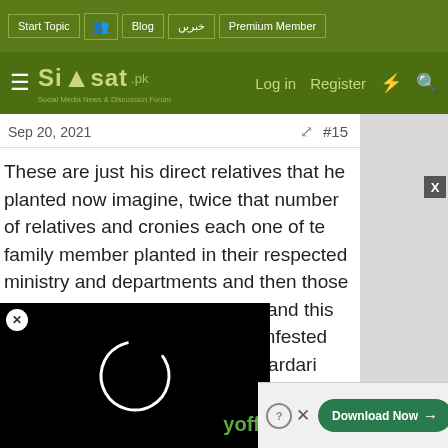Start Topic | Blog | خبریں | Premium Member | Log in | Register
[Figure (logo): Siasat logo with Social Media News & Discussion Forum tagline on green background]
Sep 20, 2021  #15
These are just his direct relatives that he planted now imagine, twice that number of relatives and cronies each one of te family member planted in their respected ministry and departments and then those cronies employed their cronies and this is how every govt institution is infested and infected by the sharif and zardari clan.
[Figure (screenshot): Black video player overlay with circular loading/play indicator]
[Figure (screenshot): Download Now button advertisement overlay at bottom right]